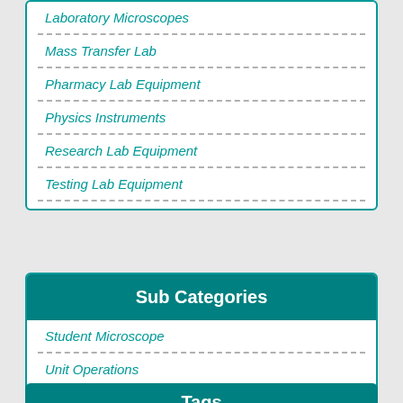Laboratory Microscopes
Mass Transfer Lab
Pharmacy Lab Equipment
Physics Instruments
Research Lab Equipment
Testing Lab Equipment
Sub Categories
Student Microscope
Unit Operations
Tags